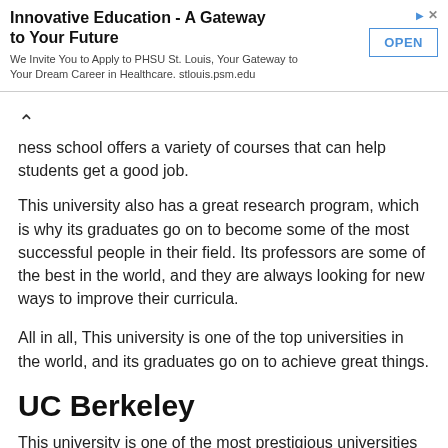[Figure (other): Advertisement banner for PHSU St. Louis with title 'Innovative Education - A Gateway to Your Future', body text, and an OPEN button]
…ness school offers a variety of courses that can help students get a good job.
This university also has a great research program, which is why its graduates go on to become some of the most successful people in their field. Its professors are some of the best in the world, and they are always looking for new ways to improve their curricula.
All in all, This university is one of the top universities in the world, and its graduates go on to achieve great things.
UC Berkeley
This university is one of the most prestigious universities in